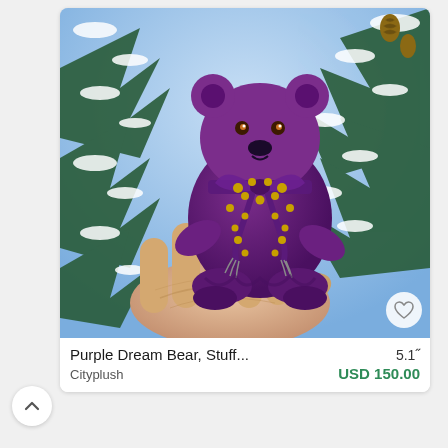[Figure (photo): A small purple teddy bear with golden bead decorations and a purple ribbon/bow, held in a person's hand against a snowy pine tree background.]
Purple Dream Bear, Stuff...   5.1"
Cityplush
USD 150.00